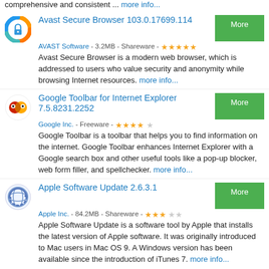comprehensive and consistent ... more info...
Avast Secure Browser 103.0.17699.114
AVAST Software - 3.2MB - Shareware - ★★★★★
Avast Secure Browser is a modern web browser, which is addressed to users who value security and anonymity while browsing Internet resources. more info...
Google Toolbar for Internet Explorer 7.5.8231.2252
Google Inc. - Freeware - ★★★★☆
Google Toolbar is a toolbar that helps you to find information on the internet. Google Toolbar enhances Internet Explorer with a Google search box and other useful tools like a pop-up blocker, web form filler, and spellchecker. more info...
Apple Software Update 2.6.3.1
Apple Inc. - 84.2MB - Shareware - ★★★☆☆
Apple Software Update is a software tool by Apple that installs the latest version of Apple software. It was originally introduced to Mac users in Mac OS 9. A Windows version has been available since the introduction of iTunes 7. more info...